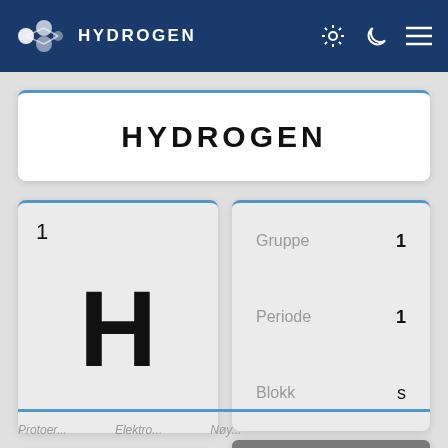HYDROGEN
HYDROGEN
1
H
Gruppe 1
Periode 1
Blokk s
Ready to use Offline
Proton... Elektro... Nøy...